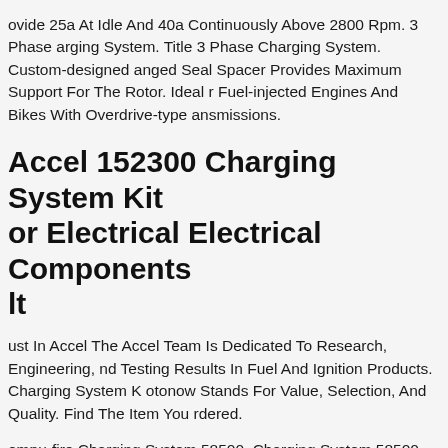ovide 25a At Idle And 40a Continuously Above 2800 Rpm. 3 Phase arging System. Title 3 Phase Charging System. Custom-designed anged Seal Spacer Provides Maximum Support For The Rotor. Ideal r Fuel-injected Engines And Bikes With Overdrive-type ansmissions.
Accel 152300 Charging System Kit or Electrical Electrical Components lt
ust In Accel The Accel Team Is Dedicated To Research, Engineering, nd Testing Results In Fuel And Ignition Products. Charging System K otonow Stands For Value, Selection, And Quality. Find The Item You rdered.
ompu-fire Charging System 58500. Charging System 58500. Compu- e 58500 Charging System. Charging System. 90a1325w Charging stem For Gl1500 88-00. Lets Stay Connected!